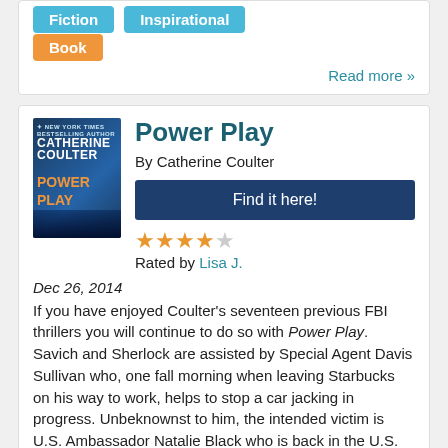Fiction
Inspirational
Book
Read more »
Power Play
By Catherine Coulter
Find it here!
Rated by Lisa J.
Dec 26, 2014
If you have enjoyed Coulter's seventeen previous FBI thrillers you will continue to do so with Power Play. Savich and Sherlock are assisted by Special Agent Davis Sullivan who, one fall morning when leaving Starbucks on his way to work, helps to stop a car jacking in progress. Unbeknownst to him, the intended victim is U.S. Ambassador Natalie Black who is back in the U.S. following